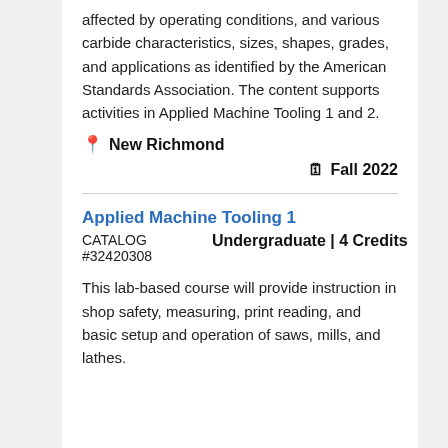affected by operating conditions, and various carbide characteristics, sizes, shapes, grades, and applications as identified by the American Standards Association. The content supports activities in Applied Machine Tooling 1 and 2.
📍 New Richmond
🗓 Fall 2022
Applied Machine Tooling 1
CATALOG #32420308
Undergraduate | 4 Credits
This lab-based course will provide instruction in shop safety, measuring, print reading, and basic setup and operation of saws, mills, and lathes.